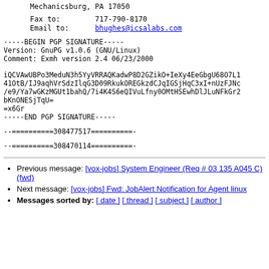Mechanicsburg, PA  17050
Fax to:     717-790-8170
Email to:   bhughes@icsalabs.com
-----BEGIN PGP SIGNATURE-----
Version: GnuPG v1.0.6 (GNU/Linux)
Comment: Exmh version 2.4 06/23/2000

iQCVAwUBPo3MeduN3h5YyVRRAQKadwP8D2GZikO+IeXy4EeGbgU68O7L1
41OtB/IJ9aqhVrSdzIlqG3D09RkukOREGkzdCJqIGSjHqC3xI+nUzFJNc
/e9/Ya7wGKzMGUt1bahQ/7i4K4S6eQIVuLfny0OMtHSEwhDlJLuNFkGr2
bKnONESjTqU=
=x6Gr
-----END PGP SIGNATURE-----
--==========308477517==========-
--==========308470114==========-
Previous message: [vox-jobs] System Engineer (Req # 03 135 A045 C) (fwd)
Next message: [vox-jobs] Fwd: JobAlert Notification for Agent linux
Messages sorted by: [ date ] [ thread ] [ subject ] [ author ]